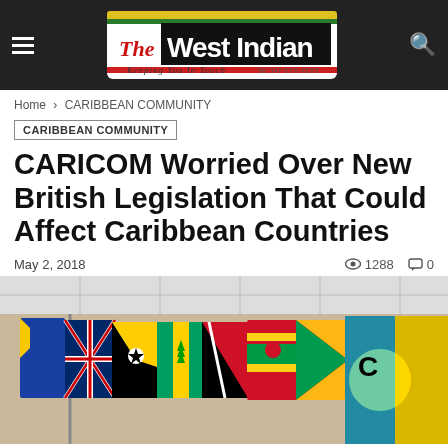The West Indian — Keeping You In Touch
Home › CARIBBEAN COMMUNITY
CARIBBEAN COMMUNITY
CARICOM Worried Over New British Legislation That Could Affect Caribbean Countries
May 2, 2018   👁 1288   💬 0
[Figure (photo): Row of Caribbean country flags hanging in an indoor hall, including flags of various CARICOM member states, with a CARICOM flag visible on the right.]